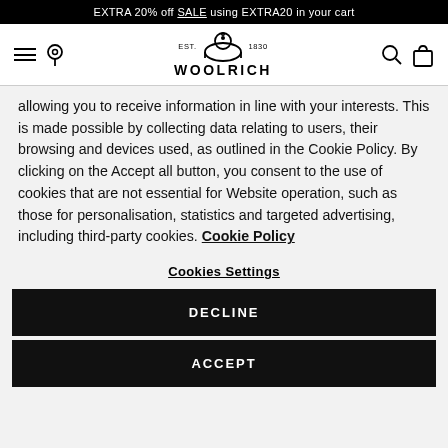EXTRA 20% off SALE using EXTRA20 in your cart
[Figure (logo): Woolrich logo with sheep icon, EST. 1830]
allowing you to receive information in line with your interests. This is made possible by collecting data relating to users, their browsing and devices used, as outlined in the Cookie Policy. By clicking on the Accept all button, you consent to the use of cookies that are not essential for Website operation, such as those for personalisation, statistics and targeted advertising, including third-party cookies. Cookie Policy
Cookies Settings
DECLINE
ACCEPT